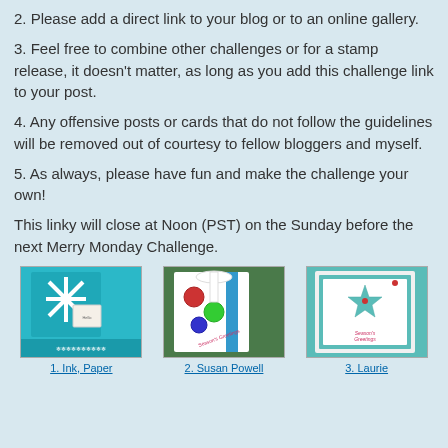2. Please add a direct link to your blog or to an online gallery.
3. Feel free to combine other challenges or for a stamp release, it doesn't matter, as long as you add this challenge link to your post.
4. Any offensive posts or cards that do not follow the guidelines will be removed out of courtesy to fellow bloggers and myself.
5. As always, please have fun and make the challenge your own!
This linky will close at Noon (PST) on the Sunday before the next Merry Monday Challenge.
[Figure (photo): Teal card with a white snowflake and a small gift tag, decorative border at bottom]
1. Ink, Paper
[Figure (photo): White card with colorful ornament stamps and a white ribbon bow, on green background]
2. Susan Powell
[Figure (photo): White card with a teal star stamp and Season's Greetings text, on teal background]
3. Laurie